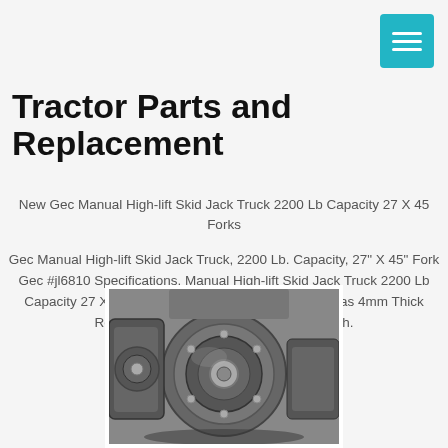Tractor Parts and Replacement
Tractor Parts and Replacement
New Gec Manual High-lift Skid Jack Truck 2200 Lb Capacity 27 X 45 Forks
Gec Manual High-lift Skid Jack Truck, 2200 Lb. Capacity, 27" X 45" Forks. Gec #jl6810 Specifications. Manual High-lift Skid Jack Truck 2200 Lb Capacity 27 X 45 Forks - Jl6810 Heavy Duty Truck Has 4mm Thick Reinforced Steel Plate For Added Strength.
[Figure (photo): Black and white photo of a tractor gearbox/transmission mechanical component]